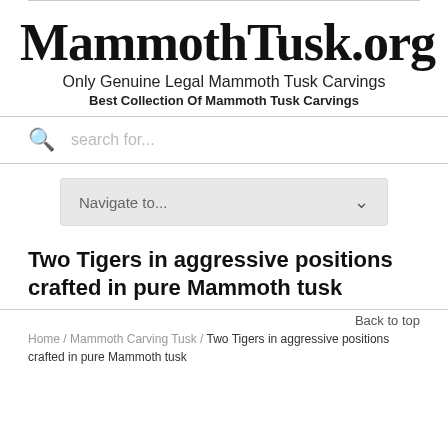MammothTusk.org
Only Genuine Legal Mammoth Tusk Carvings
Best Collection Of Mammoth Tusk Carvings
search for...
Navigate to...
Two Tigers in aggressive positions crafted in pure Mammoth tusk
Back to top
Home / Mammoth Carving Tusk / Two Tigers in aggressive positions crafted in pure Mammoth tusk